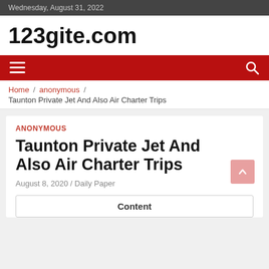Wednesday, August 31, 2022
123gite.com
[Figure (other): Navigation bar with hamburger menu icon on left and search icon on right, red background]
Home / anonymous / Taunton Private Jet And Also Air Charter Trips
ANONYMOUS
Taunton Private Jet And Also Air Charter Trips
August 8, 2020 / Daily Paper
Content